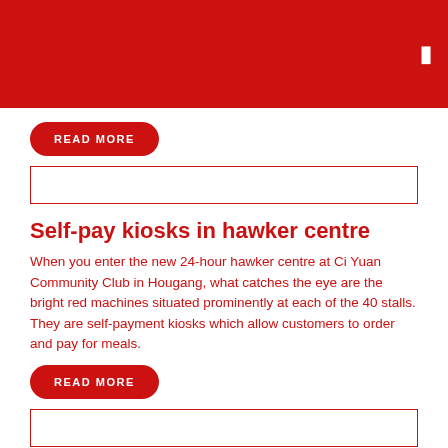[Figure (other): Red header bar with hamburger menu icon]
Self-pay kiosks in hawker centre
When you enter the new 24-hour hawker centre at Ci Yuan Community Club in Hougang, what catches the eye are the bright red machines situated prominently at each of the 40 stalls. They are self-payment kiosks which allow customers to order and pay for meals.
Call them hawker-preneurs
A career as a hawker is becoming hotter, going by the response that one organisation had to its hawker training programme